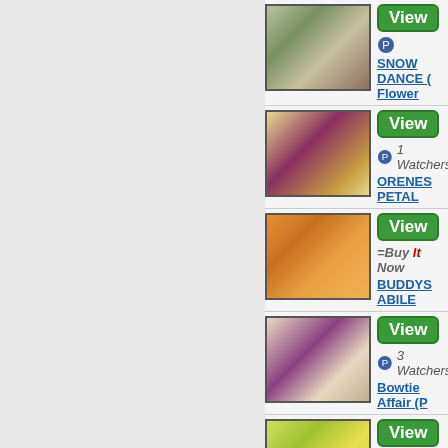[Figure (photo): Daylily flower - SNOW DANCE, light pink/white petals]
View
SNOW DANCE ( Flower
[Figure (photo): Daylily flower - ORENES PETAL, yellow with deep purple center]
View
1 Watchers
ORENES PETAL
[Figure (photo): Daylily flower - BUDDYS ABILE, orange/yellow]
View
=Buy It Now
BUDDYS ABILE
[Figure (photo): Daylily flower - Bowtie Affair, pink/purple with green throat]
View
3 Watchers
Bowtie Affair (P
[Figure (photo): Daylily flower - Tet... Tavares Le, yellow-green ruffled]
View
Tet... Tavares Le